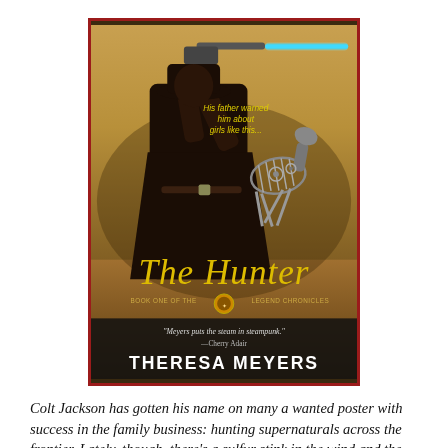[Figure (illustration): Book cover of 'The Hunter' by Theresa Meyers. Shows a man in a long dark coat and cowboy hat aiming a futuristic glowing blue pistol. A mechanical/skeletal horse rears up behind him. Text on cover reads: 'His father warned him about girls like this...' in yellow at top. Large yellow italic script 'The Hunter' in middle. Below: 'Book One of the Legend Chronicles' with a circular emblem. Quote: '"Meyers puts the steam in steampunk." —Cherry Adair'. Author name 'THERESA MEYERS' at the bottom in white.]
Colt Jackson has gotten his name on many a wanted poster with success in the family business: hunting supernaturals across the frontier. Lately, though, there's a sulfur stink in the wind and the Darkin population is exploding. A rift